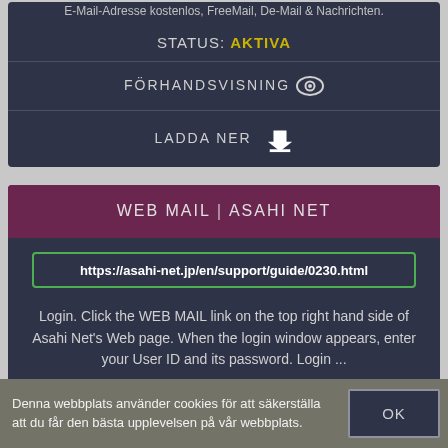E-Mail-Adresse kostenlos, FreeMail, De-Mail & Nachrichten.
STATUS: AKTIVA
FÖRHANDSVISNING
LADDA NER
WEB MAIL｜ASAHI NET
https://asahi-net.jp/en/support/guide/0230.html
Login. Click the WEB MAIL link on the top right hand side of Asahi Net's Web page. When the login window appears, enter your User ID and its password. Login ...
STATUS: AKTIVA
Denna webbplats använder cookies för att säkerställa att du får den bästa upplevelsen på vår webbplats.